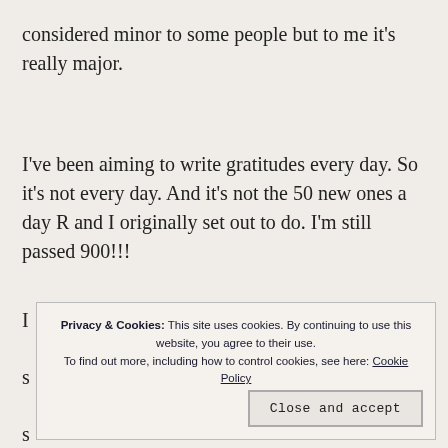considered minor to some people but to me it's really major.
I've been aiming to write gratitudes every day. So it's not every day. And it's not the 50 new ones a day R and I originally set out to do. I'm still passed 900!!!
Privacy & Cookies: This site uses cookies. By continuing to use this website, you agree to their use. To find out more, including how to control cookies, see here: Cookie Policy
Close and accept